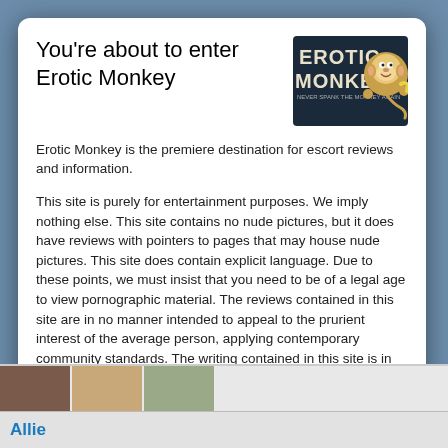You're about to enter Erotic Monkey
[Figure (logo): Erotic Monkey logo with cartoon monkey and text 'NEVER SPANK THE MONKEY AGAIN']
Erotic Monkey is the premiere destination for escort reviews and information.
This site is purely for entertainment purposes. We imply nothing else. This site contains no nude pictures, but it does have reviews with pointers to pages that may house nude pictures. This site does contain explicit language. Due to these points, we must insist that you need to be of a legal age to view pornographic material. The reviews contained in this site are in no manner intended to appeal to the prurient interest of the average person, applying contemporary community standards. The writing contained in this site is in no manner intended to depict or describe, in a patently offensive way, sexual conduct specifically defined by the applicable state law. All information presented at this site is protected by the First Amendment of the United States Constitution. This site is not intended for solicitation. We are not associated
ENTER SITE
I agree to the terms and conditions
or leave website